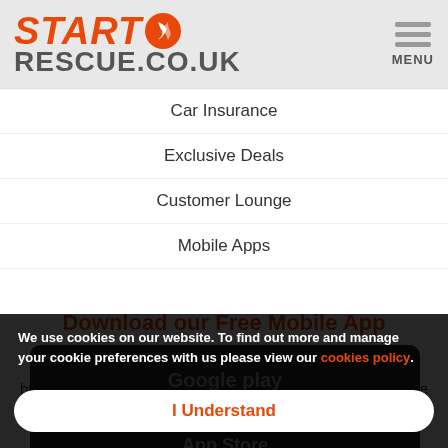START RESCUE.CO.UK | MENU
Car Insurance
Exclusive Deals
Customer Lounge
Mobile Apps
Download our Free Mobile App
Our mobile app is a quick and easy way to report your breakdown and we will be able to locate you if you're not sure where you are!
We use cookies on our website. To find out more and manage your cookie preferences with us please view our cookies policy.
I Understand